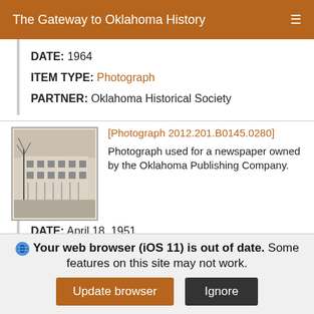The Gateway to Oklahoma History
DATE: 1964
ITEM TYPE: Photograph
PARTNER: Oklahoma Historical Society
[Figure (photo): Black and white photograph of a large multi-story building, appears to be a historic public or governmental building with columns and bare trees in foreground.]
[Photograph 2012.201.B0145.0280]
Photograph used for a newspaper owned by the Oklahoma Publishing Company.
DATE: April 18, 1951
Your web browser (iOS 11) is out of date. Some features on this site may not work.
Update browser  Ignore